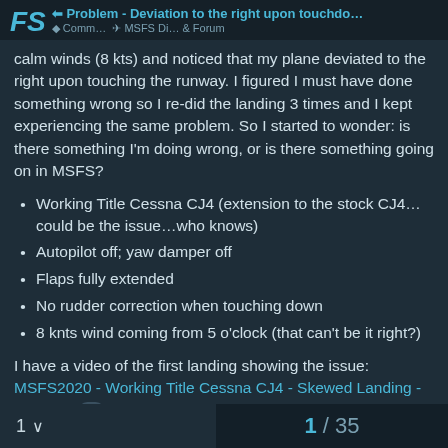FS | Problem - Deviation to the right upon touchdo...
calm winds (8 kts) and noticed that my plane deviated to the right upon touching the runway. I figured I must have done something wrong so I re-did the landing 3 times and I kept experiencing the same problem. So I started to wonder: is there something I'm doing wrong, or is there something going on in MSFS?
Working Title Cessna CJ4 (extension to the stock CJ4… could be the issue…who knows)
Autopilot off; yaw damper off
Flaps fully extended
No rudder correction when touching down
8 knts wind coming from 5 o'clock (that can't be it right?)
I have a video of the first landing showing the issue: MSFS2020 - Working Title Cessna CJ4 - Skewed Landing - YouTube [47]
Anyone else have experienced this?
1 / 35